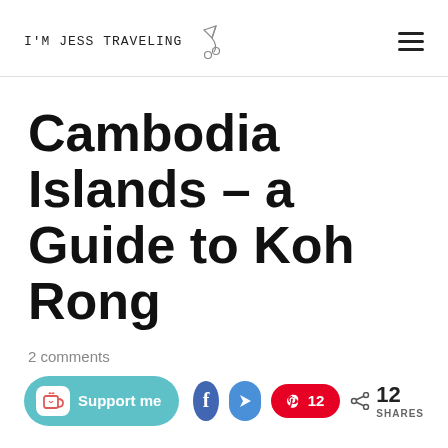I'M JESS TRAVELING
Cambodia Islands – a Guide to Koh Rong
2 comments
Support me | 12 | 12 SHARES